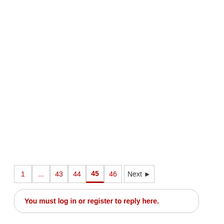[Figure (other): Pagination navigation bar showing page buttons: 1, ..., 43, 44, 45 (active, underlined), 46, Next ▶]
You must log in or register to reply here.